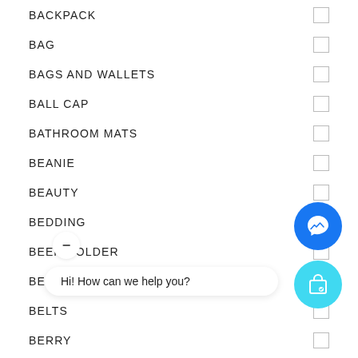BACKPACK
BAG
BAGS AND WALLETS
BALL CAP
BATHROOM MATS
BEANIE
BEAUTY
BEDDING
BEER HOLDER
BEIGE WORLD
BELTS
BERRY
BI...
BIFOLD
BIG BREEZY
[Figure (illustration): Messenger chat button (blue circle with chat icon), shop button (cyan circle with shopping bag icon), chat bubble with text 'Hi! How can we help you?', and a minus/close button]